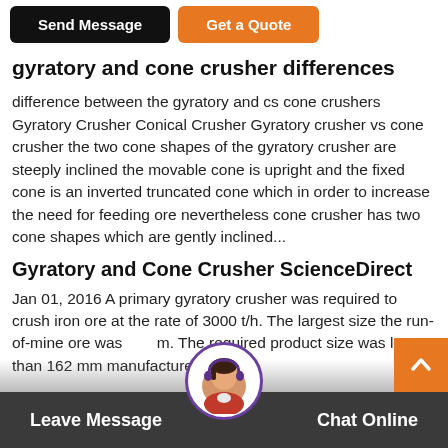Send Message | Get a Quote
gyratory and cone crusher differences
difference between the gyratory and cs cone crushers Gyratory Crusher Conical Crusher Gyratory crusher vs cone crusher the two cone shapes of the gyratory crusher are steeply inclined the movable cone is upright and the fixed cone is an inverted truncated cone which in order to increase the need for feeding ore nevertheless cone crusher has two cone shapes which are gently inclined...
Gyratory and Cone Crusher ScienceDirect
Jan 01, 2016 A primary gyratory crusher was required to crush iron ore at the rate of 3000 t/h. The largest size the run-of-mine ore was ... m. The required product size was less than 162 mm manufacturer's data